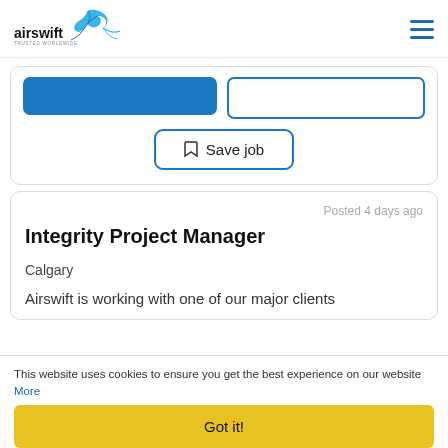airswift TRUSTED WORLDWIDE
[Figure (screenshot): Two buttons: a filled blue button and an outlined blue button side by side]
Save job
Posted 4 days ago
Integrity Project Manager
Calgary
Airswift is working with one of our major clients
This website uses cookies to ensure you get the best experience on our website
More
Got it!